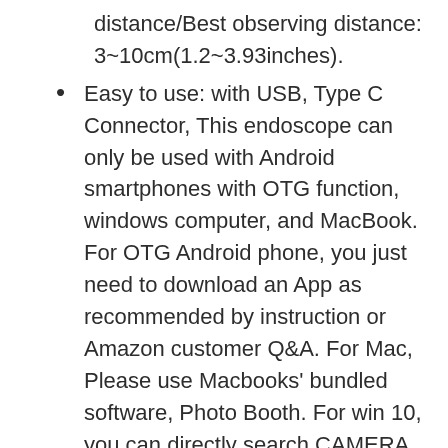distance/Best observing distance: 3~10cm(1.2~3.93inches).
Easy to use: with USB, Type C Connector, This endoscope can only be used with Android smartphones with OTG function, windows computer, and MacBook. For OTG Android phone, you just need to download an App as recommended by instruction or Amazon customer Q&A. For Mac, Please use Macbooks’ bundled software, Photo Booth. For win 10, you can directly search CAMERA in WINDOWS to find it and click on it. WIN 7/8, please see the user manual. Then plug into the USB port t use.
IP67 Waterproof: The Snake Camera is